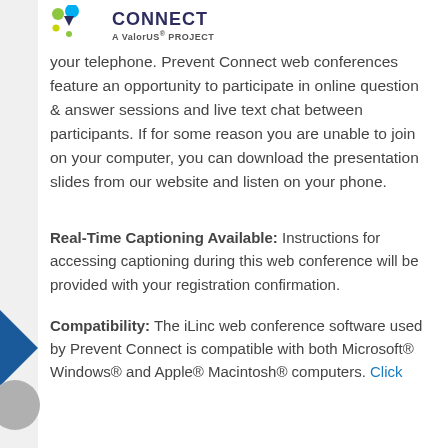[Figure (logo): PreventConnect / A ValorUS PROJECT logo with green and blue dots and triangle icon]
your telephone. Prevent Connect web conferences feature an opportunity to participate in online question & answer sessions and live text chat between participants. If for some reason you are unable to join on your computer, you can download the presentation slides from our website and listen on your phone.
Real-Time Captioning Available: Instructions for accessing captioning during this web conference will be provided with your registration confirmation.
Compatibility: The iLinc web conference software used by Prevent Connect is compatible with both Microsoft® Windows® and Apple® Macintosh® computers. Click